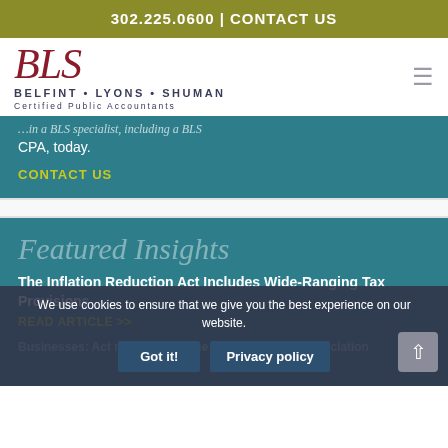302.225.0600 | CONTACT US
[Figure (logo): BLS - Belfint Lyons Shuman Certified Public Accountants logo with script BLS in red and firm name in navy]
CPA, today.
CONTACT US
Featured Insights
The Inflation Reduction Act Includes Wide-Ranging Tax Provisions
READ ARTICLE >>
We use cookies to ensure that we give you the best experience on our website.
Got it!
Privacy policy
Businesses: Act now to make the most of bonus depreciation